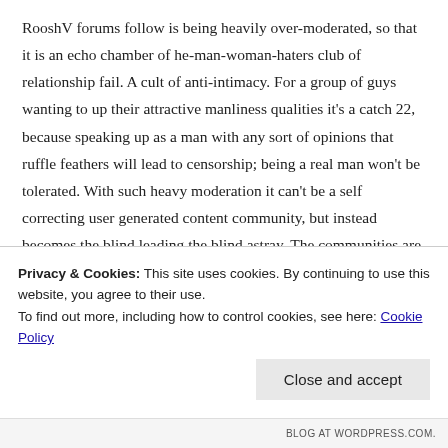RooshV forums follow is being heavily over-moderated, so that it is an echo chamber of he-man-woman-haters club of relationship fail. A cult of anti-intimacy. For a group of guys wanting to up their attractive manliness qualities it's a catch 22, because speaking up as a man with any sort of opinions that ruffle feathers will lead to censorship; being a real man won't be tolerated. With such heavy moderation it can't be a self correcting user generated content community, but instead becomes the blind leading the blind astray. The communities are not only given content and moderated into selecting for perma-angry lost boys, but self select for people with developmental disorders such as schizoid PD and
Privacy & Cookies: This site uses cookies. By continuing to use this website, you agree to their use.
To find out more, including how to control cookies, see here: Cookie Policy
Close and accept